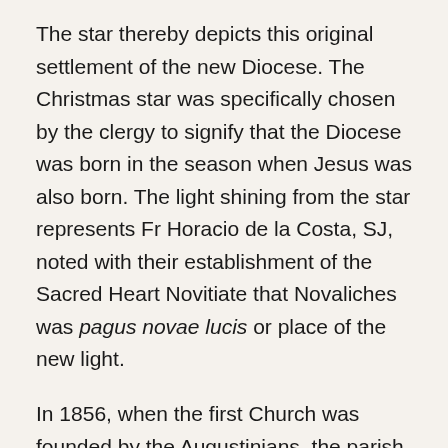The star thereby depicts this original settlement of the new Diocese. The Christmas star was specifically chosen by the clergy to signify that the Diocese was born in the season when Jesus was also born. The light shining from the star represents Fr Horacio de la Costa, SJ, noted with their establishment of the Sacred Heart Novitiate that Novaliches was pagus novae lucis or place of the new light.
In 1856, when the first Church was founded by the Augustinians, the parish was originally dedicated to the Blessed Sacrament and later to Our Lady of Mercy. The symbols of the Blessed Sacrament, namely the Chalice and the Host, were also the symbols used in the original logo of the Quezon City North Ecclesiastical District. The original village of Novaliches in Spain was found to be situated near Valencia whose